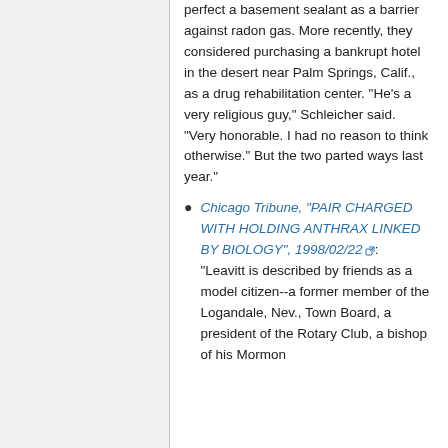perfect a basement sealant as a barrier against radon gas. More recently, they considered purchasing a bankrupt hotel in the desert near Palm Springs, Calif., as a drug rehabilitation center. "He's a very religious guy," Schleicher said. "Very honorable. I had no reason to think otherwise." But the two parted ways last year."
Chicago Tribune, "PAIR CHARGED WITH HOLDING ANTHRAX LINKED BY BIOLOGY", 1998/02/22: "Leavitt is described by friends as a model citizen--a former member of the Logandale, Nev., Town Board, a president of the Rotary Club, a bishop of his Mormon